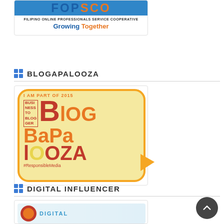[Figure (logo): FOPSC - Filipino Online Professionals Service Cooperative logo with tagline 'Growing Together']
BLOGAPALOOZA
[Figure (logo): Blogapalooza 2015 badge - speech bubble shape with text 'I AM PART OF 2015 BLog Bapalooza #ResponsibleMedia']
DIGITAL INFLUENCER
[Figure (logo): Digital Influencer logo - partially visible at bottom of page]